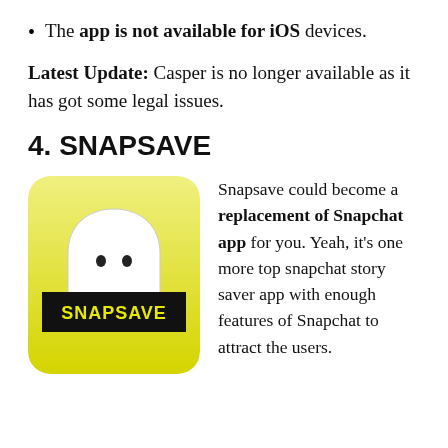The app is not available for iOS devices.
Latest Update: Casper is no longer available as it has got some legal issues.
4. SNAPSAVE
[Figure (logo): Snapsave app icon: yellow-green rounded square with a white Snapchat ghost and a black banner reading SNAPSAVE in yellow text]
Snapsave could become a replacement of Snapchat app for you. Yeah, it’s one more top snapchat story saver app with enough features of Snapchat to attract the users.